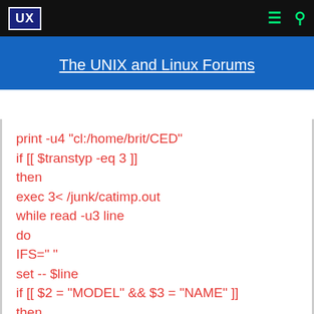UX | The UNIX and Linux Forums
print -u4 "cl:/home/brit/CED"
if [[ $transtyp -eq 3 ]]
then
exec 3< /junk/catimp.out
while read -u3 line
do
IFS=" "
set -- $line
if [[ $2 = "MODEL" && $3 = "NAME" ]]
then
read -u3 line
IFS=
tmp="bfn:${line#l }"